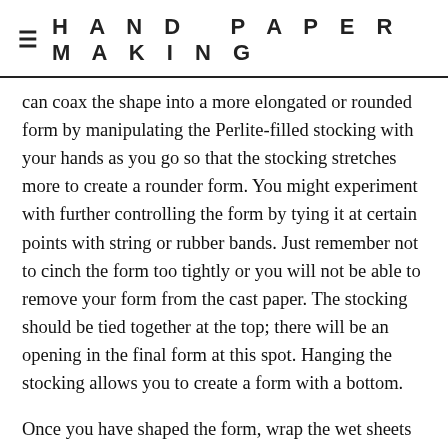≡  HAND PAPERMAKING
can coax the shape into a more elongated or rounded form by manipulating the Perlite-filled stocking with your hands as you go so that the stocking stretches more to create a rounder form. You might experiment with further controlling the form by tying it at certain points with string or rubber bands. Just remember not to cinch the form too tightly or you will not be able to remove your form from the cast paper. The stocking should be tied together at the top; there will be an opening in the final form at this spot. Hanging the stocking allows you to create a form with a bottom.
Once you have shaped the form, wrap the wet sheets around it. Where the end of a sheet overlaps another, use the flat of your finger pads to tap the